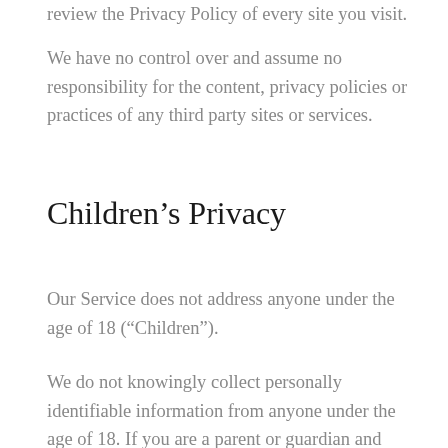review the Privacy Policy of every site you visit.
We have no control over and assume no responsibility for the content, privacy policies or practices of any third party sites or services.
Children’s Privacy
Our Service does not address anyone under the age of 18 (“Children”).
We do not knowingly collect personally identifiable information from anyone under the age of 18. If you are a parent or guardian and